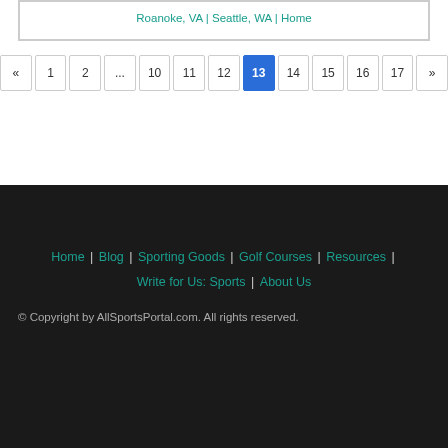Roanoke, VA | Seattle, WA | Home
« 1 2 … 10 11 12 13 14 15 16 17 »
Home | Blog | Sporting Goods | Golf Courses | Resources | Write for Us: Sports | About Us
© Copyright by AllSportsPortal.com. All rights reserved.